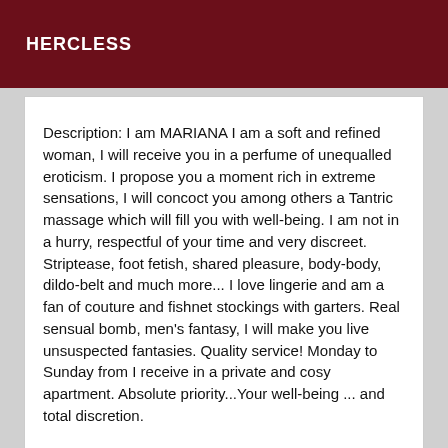HERCLESS
Description: I am MARIANA I am a soft and refined woman, I will receive you in a perfume of unequalled eroticism. I propose you a moment rich in extreme sensations, I will concoct you among others a Tantric massage which will fill you with well-being. I am not in a hurry, respectful of your time and very discreet. Striptease, foot fetish, shared pleasure, body-body, dildo-belt and much more... I love lingerie and am a fan of couture and fishnet stockings with garters. Real sensual bomb, men's fantasy, I will make you live unsuspected fantasies. Quality service! Monday to Sunday from I receive in a private and cosy apartment. Absolute priority...Your well-being ... and total discretion.